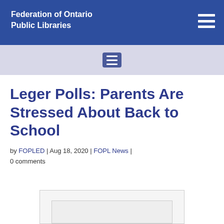Federation of Ontario Public Libraries
Leger Polls: Parents Are Stressed About Back to School
by FOPLED | Aug 18, 2020 | FOPL News | 0 comments